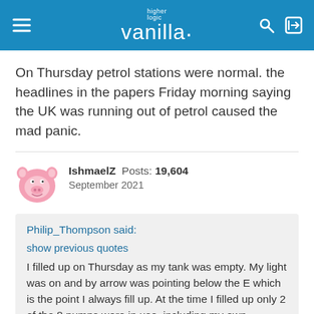higher logic vanilla
On Thursday petrol stations were normal. the headlines in the papers Friday morning saying the UK was running out of petrol caused the mad panic.
IshmaelZ  Posts: 19,604  September 2021
Philip_Thompson said:
show previous quotes
I filled up on Thursday as my tank was empty. My light was on and by arrow was pointing below the E which is the point I always fill up. At the time I filled up only 2 of the 8 pumps were in use, including my own.